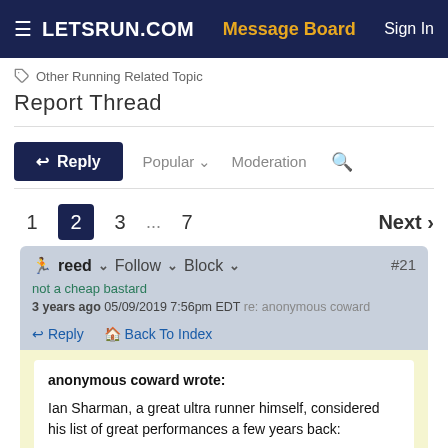LETSRUN.COM | Message Board | Sign In
Other Running Related Topic
Report Thread
Reply  Popular  Moderation
1  2  3  ...  7  Next >
reed  Follow  Block  #21
not a cheap bastard
3 years ago 05/09/2019 7:56pm EDT re: anonymous coward
Reply  Back To Index
anonymous coward wrote:

Ian Sharman, a great ultra runner himself, considered his list of great performances a few years back: